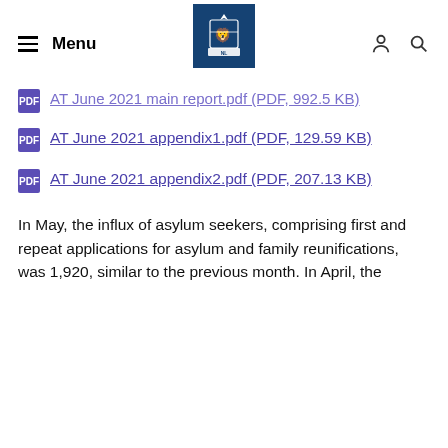Menu [logo] [person icon] [search icon]
AT June 2021 main report.pdf (PDF, 992.5 KB)
AT June 2021 appendix1.pdf (PDF, 129.59 KB)
AT June 2021 appendix2.pdf (PDF, 207.13 KB)
In May, the influx of asylum seekers, comprising first and repeat applications for asylum and family reunifications, was 1,920, similar to the previous month. In April, the